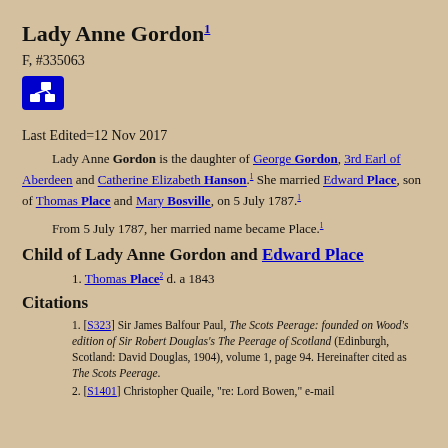Lady Anne Gordon¹
F, #335063
[Figure (other): Blue icon button with organizational chart / hierarchy symbol]
Last Edited=12 Nov 2017
Lady Anne Gordon is the daughter of George Gordon, 3rd Earl of Aberdeen and Catherine Elizabeth Hanson.¹ She married Edward Place, son of Thomas Place and Mary Bosville, on 5 July 1787.¹
From 5 July 1787, her married name became Place.¹
Child of Lady Anne Gordon and Edward Place
1. Thomas Place² d. a 1843
Citations
1. [S323] Sir James Balfour Paul, The Scots Peerage: founded on Wood's edition of Sir Robert Douglas's The Peerage of Scotland (Edinburgh, Scotland: David Douglas, 1904), volume 1, page 94. Hereinafter cited as The Scots Peerage.
2. [S1401] Christopher Quaile, "re: Lord Bowen," e-mail